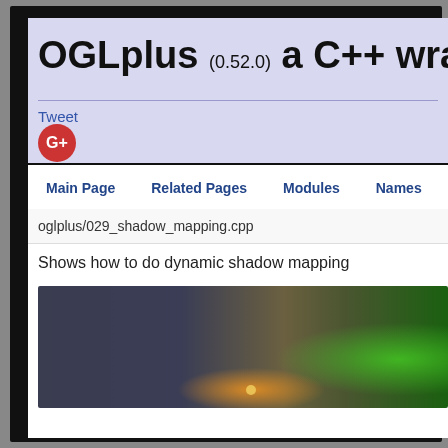OGLplus (0.52.0) a C++ wrapper
Tweet
[Figure (logo): Google+ red circular button with G+ icon]
Main Page   Related Pages   Modules   Namesp
oglplus/029_shadow_mapping.cpp
Shows how to do dynamic shadow mapping
[Figure (screenshot): 3D rendering screenshot showing dynamic shadow mapping with dark blue-grey background on left transitioning to orange and bright green on the right]